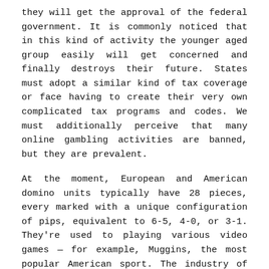they will get the approval of the federal government. It is commonly noticed that in this kind of activity the younger aged group easily will get concerned and finally destroys their future. States must adopt a similar kind of tax coverage or face having to create their very own complicated tax programs and codes. We must additionally perceive that many online gambling activities are banned, but they are prevalent.
At the moment, European and American domino units typically have 28 pieces, every marked with a unique configuration of pips, equivalent to 6-5, 4-0, or 3-1. They're used to playing various video games — for example, Muggins, the most popular American sport. The industry of online gambling, particularly video games of talent, has to enhance its technology and make it a lot simpler to become accessible to much more users. Our